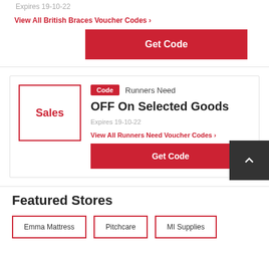Expires 19-10-22
View All British Braces Voucher Codes ›
[Figure (other): Get Code button in red with folded corner]
[Figure (other): Offer card with red border image placeholder showing 'Sales', badge 'Code', store name 'Runners Need', offer title 'OFF On Selected Goods', expires text, view all link, and Get Code button]
Expires 19-10-22
View All Runners Need Voucher Codes ›
Featured Stores
Emma Mattress
Pitchcare
MI Supplies